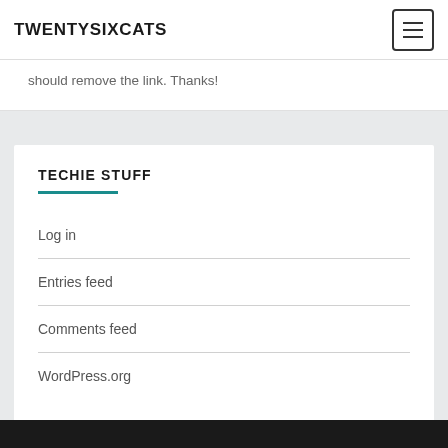TWENTYSIXCATS
should remove the link. Thanks!
TECHIE STUFF
Log in
Entries feed
Comments feed
WordPress.org